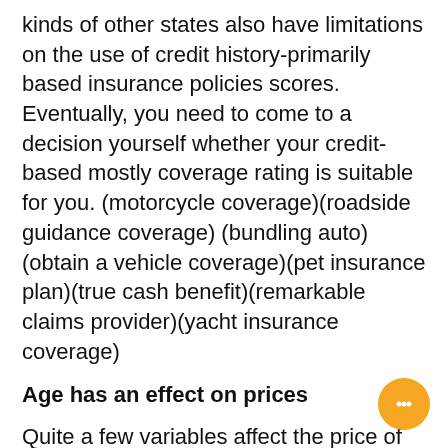kinds of other states also have limitations on the use of credit history-primarily based insurance policies scores. Eventually, you need to come to a decision yourself whether your credit-based mostly coverage rating is suitable for you. (motorcycle coverage)(roadside guidance coverage)(bundling auto)(obtain a vehicle coverage)(pet insurance plan)(true cash benefit)(remarkable claims provider)(yacht insurance coverage)
Age has an effect on prices
Quite a few variables affect the price of vehicle insurance discounts, together with age. Age impacts your price by much more than 30 %, and in certain states, a young driver pays Just about 4 occasions up to a thirty-yr-old. Inexperience is an additional main variable, as young young adults are more likely to enter into accidents. By understanding what variables influence your premiums, it is possible to negotiate decrease fees on your own. Outline below some of the main variables which affect...